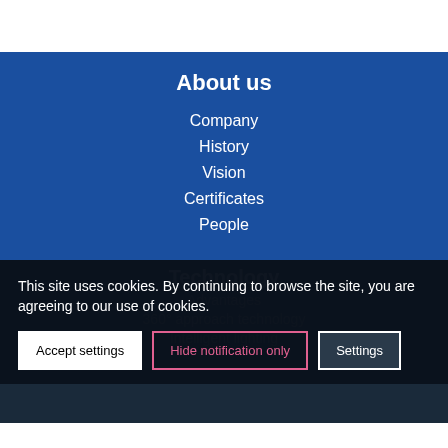About us
Company
History
Vision
Certificates
People
Technology
Advantages
360° approach technology
Intelligent lighting
This site uses cookies. By continuing to browse the site, you are agreeing to our use of cookies.
Accept settings
Hide notification only
Settings